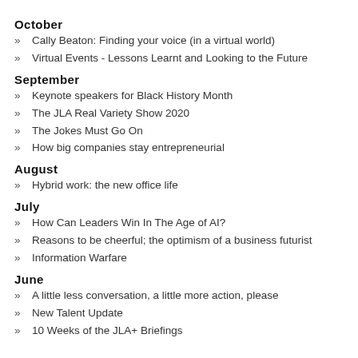October
Cally Beaton: Finding your voice (in a virtual world)
Virtual Events - Lessons Learnt and Looking to the Future
September
Keynote speakers for Black History Month
The JLA Real Variety Show 2020
The Jokes Must Go On
How big companies stay entrepreneurial
August
Hybrid work: the new office life
July
How Can Leaders Win In The Age of AI?
Reasons to be cheerful; the optimism of a business futurist
Information Warfare
June
A little less conversation, a little more action, please
New Talent Update
10 Weeks of the JLA+ Briefings